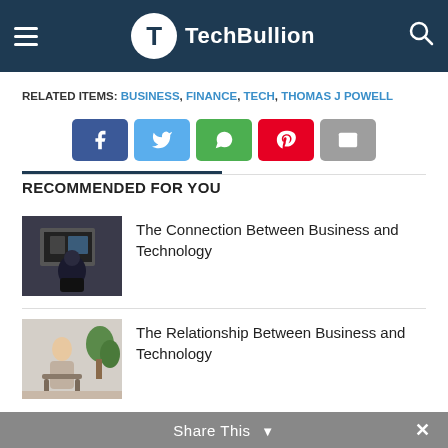TechBullion
RELATED ITEMS: BUSINESS, FINANCE, TECH, THOMAS J POWELL
[Figure (infographic): Social sharing buttons: Facebook, Twitter, WhatsApp, Pinterest, Email]
RECOMMENDED FOR YOU
[Figure (photo): Person from behind looking at computer screens]
The Connection Between Business and Technology
[Figure (photo): Woman sitting in a chair by plants]
The Relationship Between Business and Technology
Share This